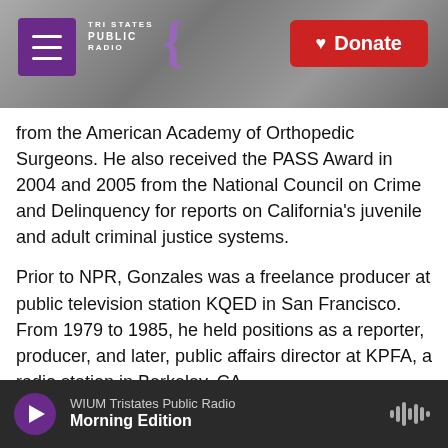[Figure (screenshot): Tri States Public Radio website header with purple hamburger menu button, Tri States Public Radio logo with decorative mark, and red Donate button. Background shows grayscale photo of radio tower.]
from the American Academy of Orthopedic Surgeons. He also received the PASS Award in 2004 and 2005 from the National Council on Crime and Delinquency for reports on California's juvenile and adult criminal justice systems.
Prior to NPR, Gonzales was a freelance producer at public television station KQED in San Francisco. From 1979 to 1985, he held positions as a reporter, producer, and later, public affairs director at KPFA, a radio station in Berkeley, CA.
Gonzales graduated from Harvard College with a bachelor's degree in psychology and social relations. He is a co-founder of Familias Unidas, a bi-lingual social services program in his hometown of Richmond,
WIUM Tristates Public Radio — Morning Edition